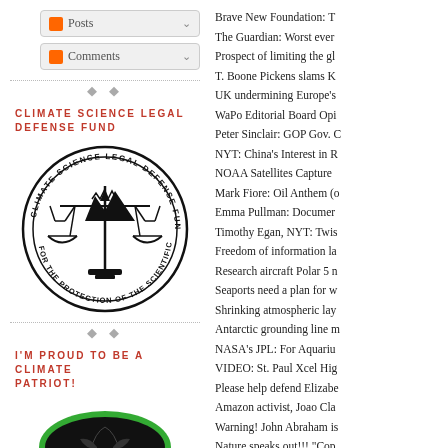Posts
Comments
CLIMATE SCIENCE LEGAL DEFENSE FUND
[Figure (logo): Climate Science Legal Defense Fund circular seal/logo with scales of justice and mountains, text reading 'FOR THE PROTECTION OF THE SCIENTIFIC ENDEAVOR']
I'M PROUD TO BE A CLIMATE PATRIOT!
[Figure (logo): Climate patriot circular badge with green border, dark background and 'CLIMATE' text in white with a leaf/plant design]
Brave New Foundation: T
The Guardian: Worst ever
Prospect of limiting the gl
T. Boone Pickens slams K
UK undermining Europe's
WaPo Editorial Board Opi
Peter Sinclair: GOP Gov. C
NYT: China's Interest in R
NOAA Satellites Capture
Mark Fiore: Oil Anthem (o
Emma Pullman: Documer
Timothy Egan, NYT: Twis
Freedom of information la
Research aircraft Polar 5 n
Seaports need a plan for w
Shrinking atmospheric lay
Antarctic grounding line m
NASA's JPL: For Aquariu
VIDEO: St. Paul Xcel Hig
Please help defend Elizabe
Amazon activist, Joao Cla
Warning! John Abraham is
Nature speaks out!!! "Cop